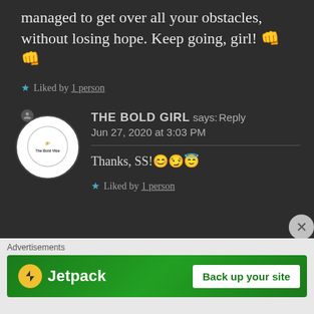managed to get over all your obstacles, without losing hope. Keep going, girl! 👊👊
★ Liked by 1 person
THE BOLD GIRL says: Reply Jun 27, 2020 at 3:03 PM
Thanks, SS!😊😏😇
★ Liked by 1 person
Advertisements
[Figure (screenshot): Jetpack advertisement banner with green background showing Jetpack logo and 'Back up your site' button]